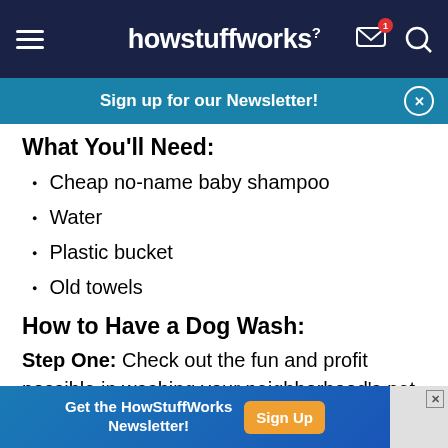howstuffworks
Sign up for our Newsletter!
What You'll Need:
Cheap no-name baby shampoo
Water
Plastic bucket
Old towels
How to Have a Dog Wash:
Step One: Check out the fun and profit possible in washing your neighborhood's pet dogs. Slip into
Get the HowStuffWorks Newsletter! Sign Up